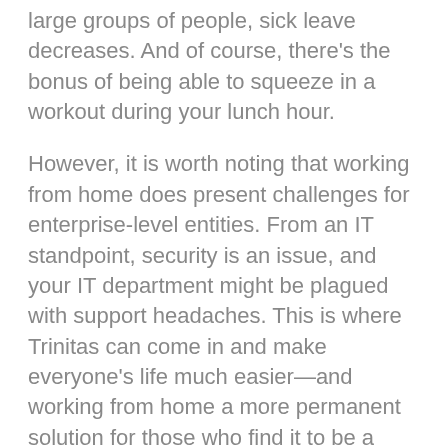large groups of people, sick leave decreases. And of course, there's the bonus of being able to squeeze in a workout during your lunch hour.
However, it is worth noting that working from home does present challenges for enterprise-level entities. From an IT standpoint, security is an issue, and your IT department might be plagued with support headaches. This is where Trinitas can come in and make everyone's life much easier—and working from home a more permanent solution for those who find it to be a valuable life solution.
As a trusted telecom company, we're experts in convenience and customer satisfaction, from employee to CEO. We can bundle products, deliver them